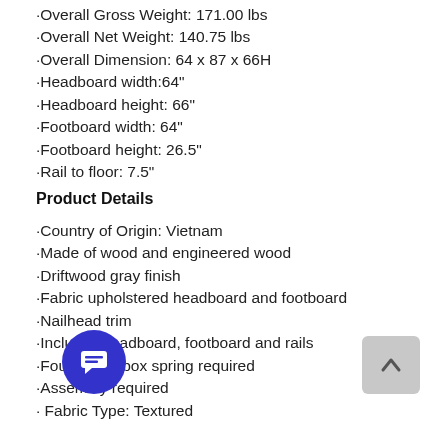·Overall Gross Weight: 171.00 lbs
·Overall Net Weight: 140.75 lbs
·Overall Dimension: 64 x 87 x 66H
·Headboard width:64"
·Headboard height: 66"
·Footboard width: 64"
·Footboard height: 26.5"
·Rail to floor: 7.5"
Product Details
·Country of Origin: Vietnam
·Made of wood and engineered wood
·Driftwood gray finish
·Fabric upholstered headboard and footboard
·Nailhead trim
·Includes headboard, footboard and rails
·Foundation/box spring required
·Assembly required
· Fabric Type: Textured